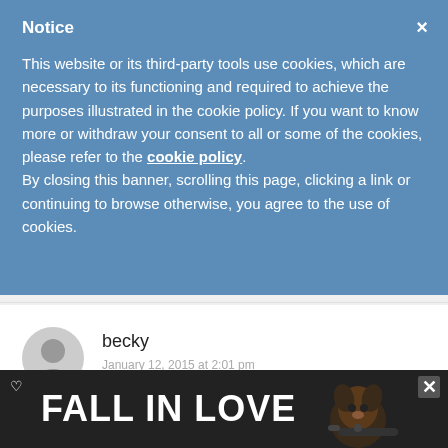Notice
This website or its third-party tools use cookies, which are necessary to its functioning and required to achieve the purposes illustrated in the cookie policy. If you want to know more or withdraw your consent to all or some of the cookies, please refer to the cookie policy. By closing this banner, scrolling this page, clicking a link or continuing to browse otherwise, you agree to the use of cookies.
becky
January 12, 2015 at 2:01 pm
[Figure (illustration): Advertisement banner with 'FALL IN LOVE' text and a dog image with headphones, close button in top right corner]